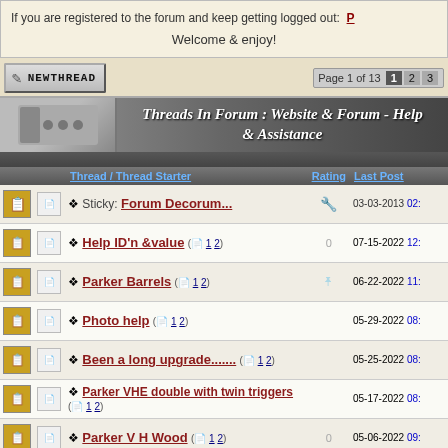If you are registered to the forum and keep getting logged out: P...
Welcome & enjoy!
Threads In Forum : Website & Forum - Help & Assistance
|  |  | Thread / Thread Starter | Rating | Last Post |
| --- | --- | --- | --- | --- |
|  |  | Sticky: Forum Decorum... |  | 03-03-2013 02: |
|  |  | Help ID'n &value (1 2) | 0 | 07-15-2022 12: |
|  |  | Parker Barrels (1 2) |  | 06-22-2022 11: |
|  |  | Photo help (1 2) |  | 05-29-2022 08: |
|  |  | Been a long upgrade....... (1 2) |  | 05-25-2022 08: |
|  |  | Parker VHE double with twin triggers (1 2) |  | 05-17-2022 08: |
|  |  | Parker V H Wood (1 2) | 0 | 05-06-2022 09: |
|  |  | New from Michigan. Seeking membership. (1 2 3) |  | 03-28-2022 08: |